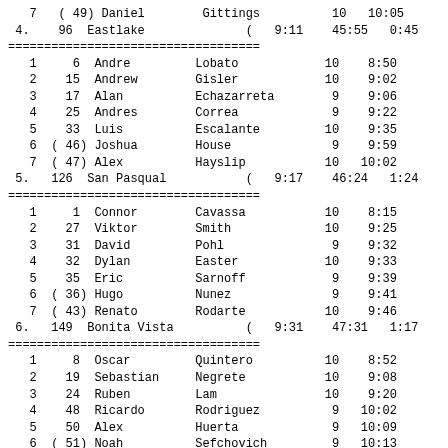7  ( 49) Daniel        Gittings          10   10:05
4.   96  Eastlake              (   9:11    45:55   0:45
1     6  Andre         Lobato            10    8:50
2    15  Andrew        Gisler            10    9:02
3    17  Alan          Echazarreta        9    9:06
4    25  Andres        Correa             9    9:22
5    33  Luis          Escalante         10    9:35
6  ( 46) Joshua        House              9    9:59
7  ( 47) Alex          Hayslip           10   10:02
5.  126  San Pasqual           (   9:17    46:24   1:24
1     1  Connor        Cavassa           10    8:15
2    27  Viktor        Smith             10    9:25
3    31  David         Pohl               9    9:32
4    32  Dylan         Easter            10    9:33
5    35  Eric          Sarnoff            9    9:39
6  ( 36) Hugo          Nunez              9    9:41
7  ( 43) Renato        Rodarte           10    9:46
6.  149  Bonita Vista          (   9:31    47:31   1:17
1     8  Oscar         Quintero          10    8:52
2    19  Sebastian     Negrete           10    9:08
3    24  Ruben         Lam               10    9:20
4    48  Ricardo       Rodriguez          9   10:02
5    50  Alex          Huerta             9   10:09
6  ( 51) Noah          Sefchovich         9   10:13